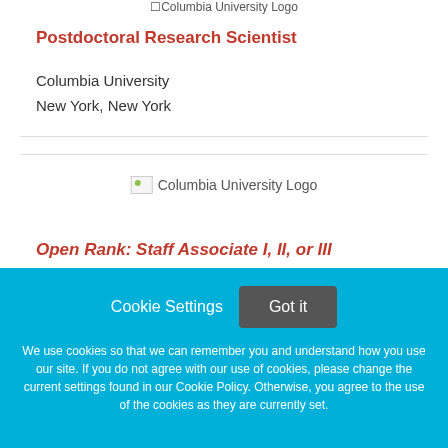[Figure (logo): Columbia University Logo text placeholder at top]
Postdoctoral Research Scientist
Columbia University
New York, New York
[Figure (logo): Columbia University Logo image]
Open Rank: Staff Associate I, II, or III
Cookie Settings
Got it
We use cookies so that we can remember you and understand how you use our site. If you do not agree with our use of cookies, please change the current settings found in our Cookie Policy. Otherwise, you agree to the use of the cookies as they are currently set.